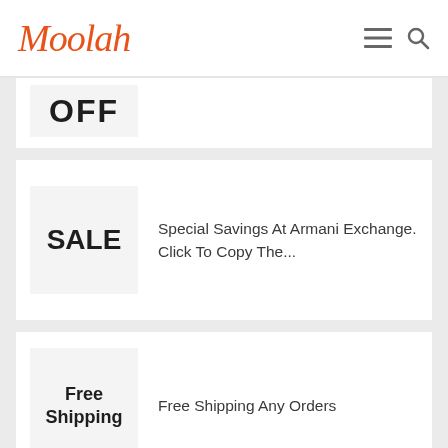Moolah
[Figure (screenshot): Card with large bold text 'OFF' on grey badge background, partially visible at top]
Special Savings At Armani Exchange. Click To Copy The...
Free Shipping Any Orders